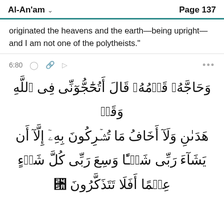Al-An'am   Page 137
originated the heavens and the earth—being upright—and I am not one of the polytheists."
6:80
وَحَاجَّهُۥ قَوْمُهُۥ قَالَ أَتُحَٰجُّوٓنِّى فِى ٱللَّهِ وَقَد هَدَىٰنِ وَلَآ أَخَافُ مَا تُشْرِكُونَ بِهِۦٓ إِلَّآ أَن يَشَآءَ رَبِّى شَيْـًٔا وَسِعَ رَبِّى كُلَّ شَىْءٍ عِلْمًا أَفَلَا تَتَذَكَّرُونَ ٨٠